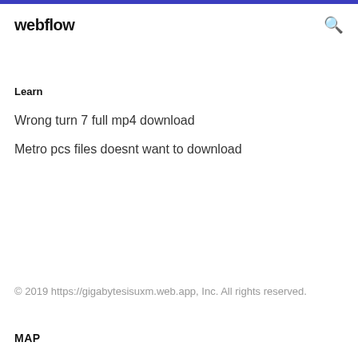webflow
Learn
Wrong turn 7 full mp4 download
Metro pcs files doesnt want to download
© 2019 https://gigabytesisuxm.web.app, Inc. All rights reserved.
MAP